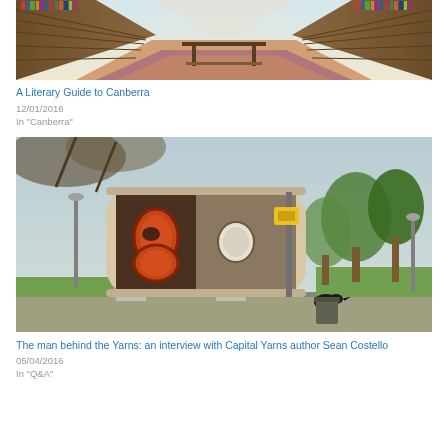[Figure (photo): Interior of a library with rows of bookshelves and a central table on a patterned carpet, viewed from the end of the aisle.]
A Literary Guide to Canberra
12/01/2016
In "Canberra"
[Figure (illustration): Colourful illustration showing an old-style telephone booth or public fixture with orange oval decorations, a bird (crow) perched on a bin, and trees and street elements in the background. An illustration for Capital Yarns by Sean Costello.]
The man behind the Yarns: an interview with Capital Yarns author Sean Costello
05/04/2016
In "Q&A"